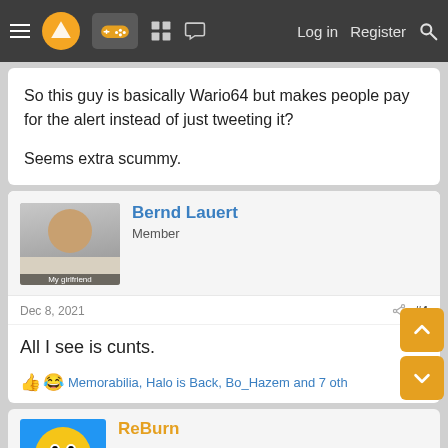≡ [logo] [gamepad] [grid] [chat]  Log in  Register  🔍
So this guy is basically Wario64 but makes people pay for the alert instead of just tweeting it?

Seems extra scummy.
Bernd Lauert
Member
Dec 8, 2021  #4
All I see is cunts.
👍 😂 Memorabilia, Halo is Back, Bo_Hazem and 7 others
ReBurn